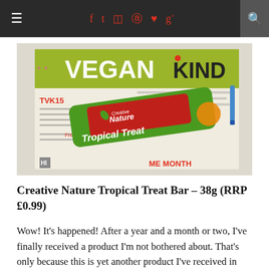≡  f  t  ⊡  ℗  ♥  g+  🔍
[Figure (photo): Photo of a Creative Nature Tropical Treat bar lying on a VEGANkind subscription box leaflet, with the bar's green and red branded packaging clearly visible.]
Creative Nature Tropical Treat Bar – 38g (RRP £0.99)
Wow! It's happened! After a year and a month or two, I've finally received a product I'm not bothered about. That's only because this is yet another product I've received in recent boxes and